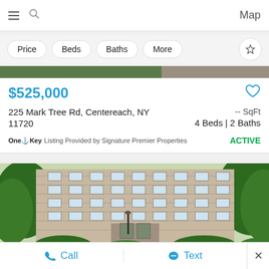≡ 🔍  Map
Price
Beds
Baths
More
[Figure (photo): Partial listing image strip at top]
$525,000
225 Mark Tree Rd, Centereach, NY
11720
-- SqFt
4 Beds | 2 Baths
OneKey Listing Provided by Signature Premier Properties  ACTIVE
[Figure (photo): Multi-story brick apartment building with green trees and manicured shrubs]
Call  Text  ×